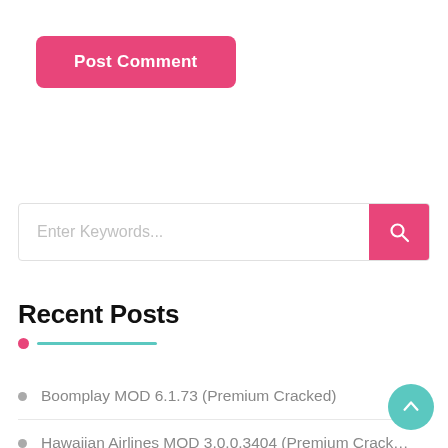Post Comment
[Figure (screenshot): Search bar with placeholder text 'Enter Keywords...' and a pink search button with magnifying glass icon]
Recent Posts
Boomplay MOD 6.1.73 (Premium Cracked)
Hawaiian Airlines MOD 3.0.0.3404 (Premium Cracked)